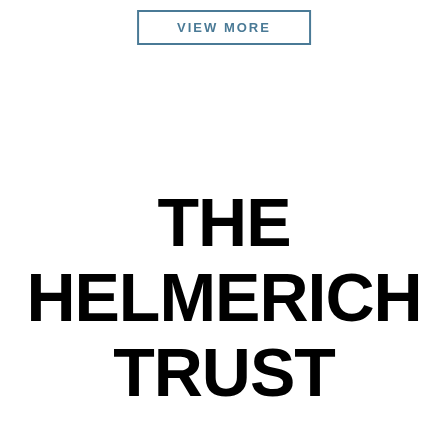[Figure (other): VIEW MORE button with teal/steel blue border and text]
THE HELMERICH TRUST